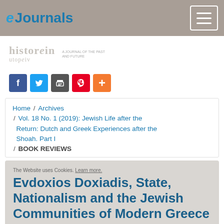e Journals
[Figure (logo): Histor in utopetv journal logo with tagline]
[Figure (infographic): Social sharing icons: Facebook, Twitter, Print, Pinterest, Plus]
Home / Archives / Vol. 18 No. 1 (2019): Jewish Life after the Return: Dutch and Greek Experiences after the Shoah. Part I / BOOK REVIEWS
Evdoxios Doxiadis, State, Nationalism and the Jewish Communities of Modern Greece